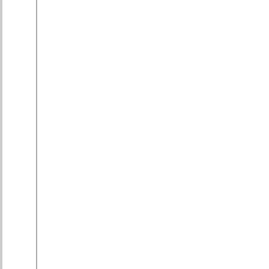in FB. Not just delicate watermarking, but clearly typeset, separate signature. This isn't probably for those who want to steal the work or make a derivative, but just to trace when it gets posted and reposted a z...
Sites from international organizations don't feel watermarking is needed on their sites, but this may change. I don't know. These sites are to serve sellers and buyers, not to trace through the web.
Cheers,
L.
Linda M. Feltner Artist, LLC
P.O. Box 325
Hereford, AZ 85615
(520) 803-0538
www.lindafeltner.com
On Sep 12, 2013, at 3:32 PM, Bruce Bartrug wrote: